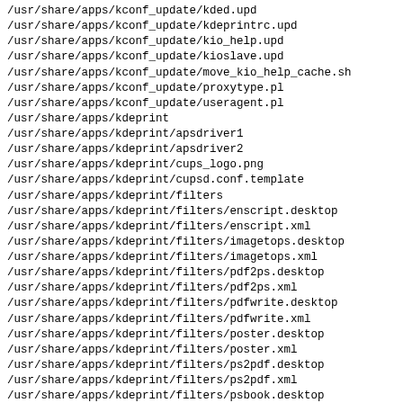/usr/share/apps/kconf_update/kded.upd
/usr/share/apps/kconf_update/kdeprintrc.upd
/usr/share/apps/kconf_update/kio_help.upd
/usr/share/apps/kconf_update/kioslave.upd
/usr/share/apps/kconf_update/move_kio_help_cache.sh
/usr/share/apps/kconf_update/proxytype.pl
/usr/share/apps/kconf_update/useragent.pl
/usr/share/apps/kdeprint
/usr/share/apps/kdeprint/apsdriver1
/usr/share/apps/kdeprint/apsdriver2
/usr/share/apps/kdeprint/cups_logo.png
/usr/share/apps/kdeprint/cupsd.conf.template
/usr/share/apps/kdeprint/filters
/usr/share/apps/kdeprint/filters/enscript.desktop
/usr/share/apps/kdeprint/filters/enscript.xml
/usr/share/apps/kdeprint/filters/imagetops.desktop
/usr/share/apps/kdeprint/filters/imagetops.xml
/usr/share/apps/kdeprint/filters/pdf2ps.desktop
/usr/share/apps/kdeprint/filters/pdf2ps.xml
/usr/share/apps/kdeprint/filters/pdfwrite.desktop
/usr/share/apps/kdeprint/filters/pdfwrite.xml
/usr/share/apps/kdeprint/filters/poster.desktop
/usr/share/apps/kdeprint/filters/poster.xml
/usr/share/apps/kdeprint/filters/ps2pdf.desktop
/usr/share/apps/kdeprint/filters/ps2pdf.xml
/usr/share/apps/kdeprint/filters/psbook.desktop
/usr/share/apps/kdeprint/filters/psbook.xml
/usr/share/apps/kdeprint/filters/psbook1.desktop
/usr/share/apps/kdeprint/filters/psbook1.xml
/usr/share/apps/kdeprint/filters/psbook2.desktop